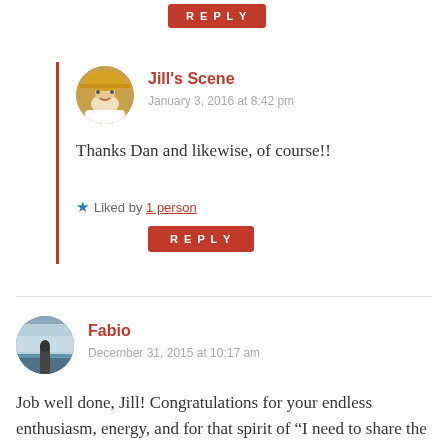REPLY
Jill's Scene
January 3, 2016 at 8:42 pm
Thanks Dan and likewise, of course!!
Liked by 1 person
REPLY
Fabio
December 31, 2015 at 10:17 am
Job well done, Jill! Congratulations for your endless enthusiasm, energy, and for that spirit of “I need to share the beautiful things of the world!” Best to you and your family! Thank you! 🙂